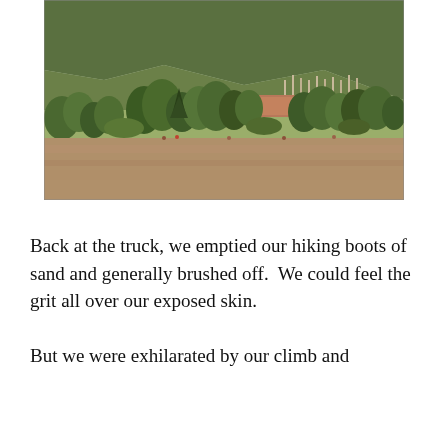[Figure (photo): Outdoor landscape photo showing a large flat sandy/dirt foreground area, a row of mixed trees (cottonwoods, pines, shrubs) in the middle ground, an adobe/brick building visible behind the trees, open grassland, and a forested mountain range in the background under a hazy sky.]
Back at the truck, we emptied our hiking boots of sand and generally brushed off.  We could feel the grit all over our exposed skin.

But we were exhilarated by our climb and